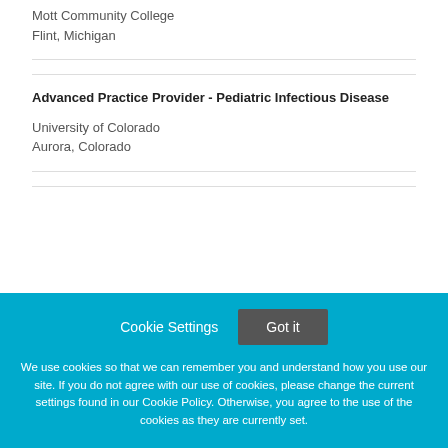Mott Community College
Flint, Michigan
Advanced Practice Provider - Pediatric Infectious Disease
University of Colorado
Aurora, Colorado
Cookie Settings  Got it

We use cookies so that we can remember you and understand how you use our site. If you do not agree with our use of cookies, please change the current settings found in our Cookie Policy. Otherwise, you agree to the use of the cookies as they are currently set.